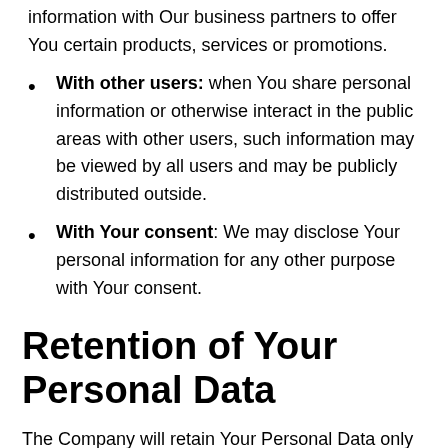information with Our business partners to offer You certain products, services or promotions.
With other users: when You share personal information or otherwise interact in the public areas with other users, such information may be viewed by all users and may be publicly distributed outside.
With Your consent: We may disclose Your personal information for any other purpose with Your consent.
Retention of Your Personal Data
The Company will retain Your Personal Data only for as